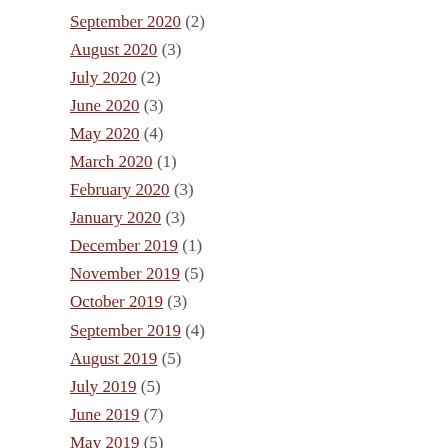September 2020 (2)
August 2020 (3)
July 2020 (2)
June 2020 (3)
May 2020 (4)
March 2020 (1)
February 2020 (3)
January 2020 (3)
December 2019 (1)
November 2019 (5)
October 2019 (3)
September 2019 (4)
August 2019 (5)
July 2019 (5)
June 2019 (7)
May 2019 (5)